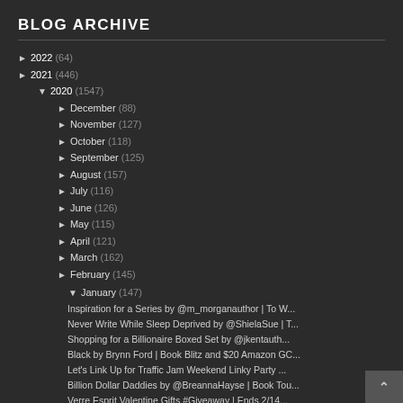BLOG ARCHIVE
► 2022 (64)
► 2021 (446)
▼ 2020 (1547)
► December (88)
► November (127)
► October (118)
► September (125)
► August (157)
► July (116)
► June (126)
► May (115)
► April (121)
► March (162)
► February (145)
▼ January (147)
Inspiration for a Series by @m_morganauthor | To W...
Never Write While Sleep Deprived by @ShielaSue | T...
Shopping for a Billionaire Boxed Set by @jkentauth...
Black by Brynn Ford | Book Blitz and $20 Amazon GC...
Let's Link Up for Traffic Jam Weekend Linky Party ...
Billion Dollar Daddies by @BreannaHayse | Book Tou...
Verre Esprit Valentine Gifts #Giveaway | Ends 2/14...
Author Q&A ft @clafortunebooks | Private Message...